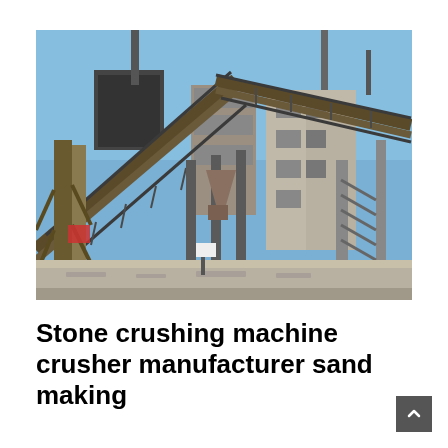[Figure (photo): Industrial stone crushing plant facility showing large steel frame structure with conveyor belts, scaffolding, silos, and concrete buildings under a clear blue sky.]
Stone crushing machine crusher manufacturer sand making